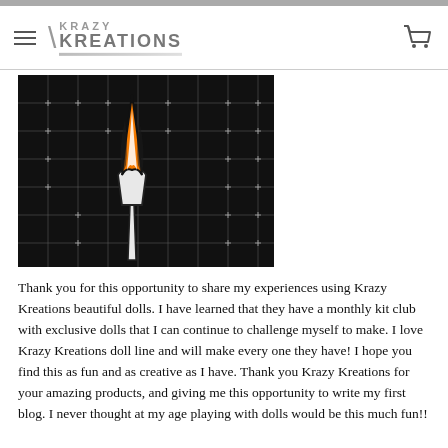Krazy Kreations
[Figure (photo): A decorative torch/flame craft item on a dark grid background, with orange and white flame colors and a white handle, displayed against a black wire grid.]
Thank you for this opportunity to share my experiences using Krazy Kreations beautiful dolls. I have learned that they have a monthly kit club with exclusive dolls that I can continue to challenge myself to make. I love Krazy Kreations doll line and will make every one they have! I hope you find this as fun and as creative as I have. Thank you Krazy Kreations for your amazing products, and giving me this opportunity to write my first blog. I never thought at my age playing with dolls would be this much fun!!